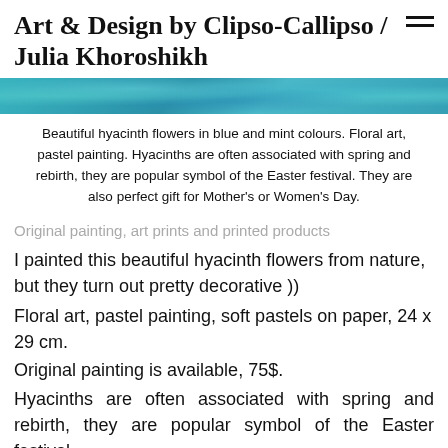Art & Design by Clipso-Callipso / Julia Khoroshikh
[Figure (photo): Close-up photo strip of hyacinth flowers in blue and teal/mint colours]
Beautiful hyacinth flowers in blue and mint colours. Floral art, pastel painting. Hyacinths are often associated with spring and rebirth, they are popular symbol of the Easter festival. They are also perfect gift for Mother's or Women's Day.
Original painting, art prints and printed products
I painted this beautiful hyacinth flowers from nature, but they turn out pretty decorative ))
Floral art, pastel painting, soft pastels on paper, 24 x 29 cm.
Original painting is available, 75$.
Hyacinths are often associated with spring and rebirth, they are popular symbol of the Easter festival.
Color palette: Cornflower Blue, Aquamarine Blue,